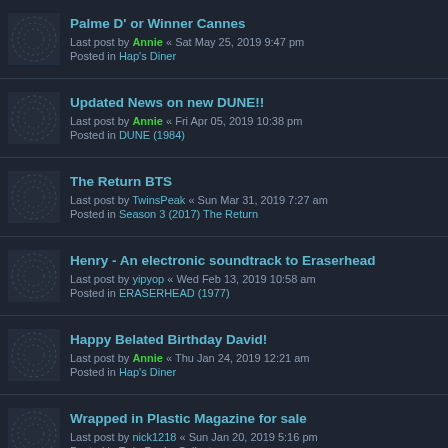Palme D' or Winner Cannes
Last post by Annie « Sat May 25, 2019 9:47 pm
Posted in Hap's Diner
Updated News on new DUNE!!
Last post by Annie « Fri Apr 05, 2019 10:38 pm
Posted in DUNE (1984)
The Return BTS
Last post by TwinsPeak « Sun Mar 31, 2019 7:27 am
Posted in Season 3 (2017) The Return
Henry - An electronic soundtrack to Eraserhead
Last post by yipyop « Wed Feb 13, 2019 10:58 am
Posted in ERASERHEAD (1977)
Happy Belated Birthday David!
Last post by Annie « Thu Jan 24, 2019 12:21 am
Posted in Hap's Diner
Wrapped in Plastic Magazine for sale
Last post by nick1218 « Sun Jan 20, 2019 5:16 pm
Posted in Twin Peaks Collectors
Senses of Cinema on Lynch & Kafka
Last post by Rigpa « Tue Nov 27, 2018 2:52 pm
Posted in DAVID LYNCH GENERAL